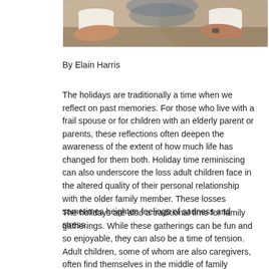[Figure (photo): Two elderly people holding white coffee cups, hands visible, warm tones]
By Elain Harris
The holidays are traditionally a time when we reflect on past memories. For those who live with a frail spouse or for children with an elderly parent or parents, these reflections often deepen the awareness of the extent of how much life has changed for them both. Holiday time reminiscing can also underscore the loss adult children face in the altered quality of their personal relationship with the older family member. These losses sometimes heighten feelings of sadness and stress.
The holidays are also a traditional time for family gatherings. While these gatherings can be fun and so enjoyable, they can also be a time of tension. Adult children, some of whom are also caregivers, often find themselves in the middle of family discord as they try to